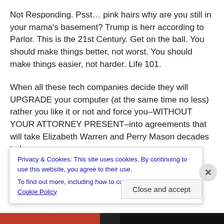Not Responding. Psst… pink hairs why are you still in your mama's basement? Trump is herr according to Parlor. This is the 21st Century. Get on the ball. You should make things better, not worst. You should make things easier, not harder. Life 101.
When all these tech companies decide they will UPGRADE your computer (at the same time no less) rather you like it or not and force you–WITHOUT YOUR ATTORNEY PRESENT–into agreements that will take Elizabeth Warren and Perry Mason decades to learn
Privacy & Cookies: This site uses cookies. By continuing to use this website, you agree to their use.
To find out more, including how to control cookies, see here: Cookie Policy